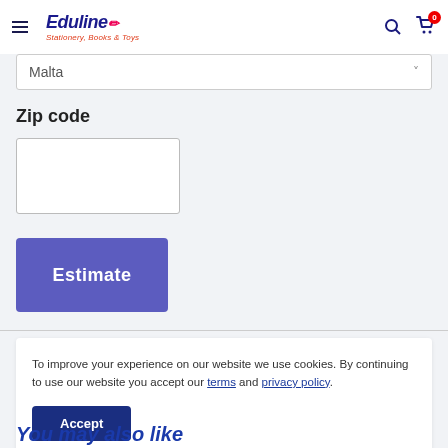Eduline Stationery, Books & Toys
Malta
Zip code
Estimate
To improve your experience on our website we use cookies. By continuing to use our website you accept our terms and privacy policy.
Accept
You may also like